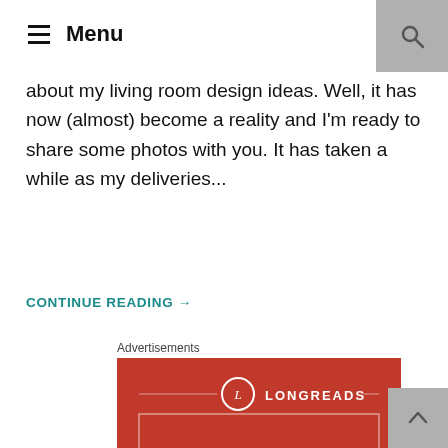Menu
about my living room design ideas. Well, it has now (almost) become a reality and I'm ready to share some photos with you. It has taken a while as my deliveries...
CONTINUE READING →
Advertisements
[Figure (other): Longreads advertisement: red background with Longreads logo, text 'The best stories on the web – ours, and everyone else's.' and a 'Start reading' button.]